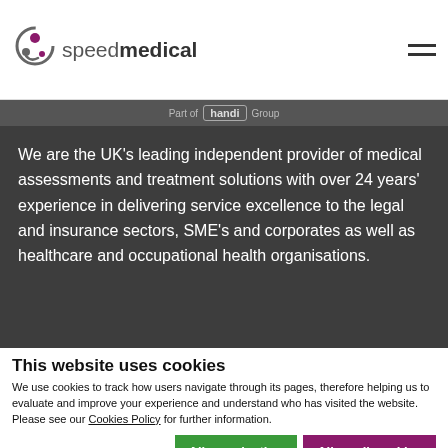speedmedical
[Figure (logo): Speed Medical logo with circular icon and 'speedmedical' text, and 'Part of handi Group' subtext]
We are the UK's leading independent provider of medical assessments and treatment solutions with over 24 years' experience in delivering service excellence to the legal and insurance sectors, SME's and corporates as well as healthcare and occupational health organisations.
This website uses cookies
We use cookies to track how users navigate through its pages, therefore helping us to evaluate and improve your experience and understand who has visited the website. Please see our Cookies Policy for further information.
Allow selection | Allow all cookies
Necessary | Preferences | Statistics | Marketing | Show details